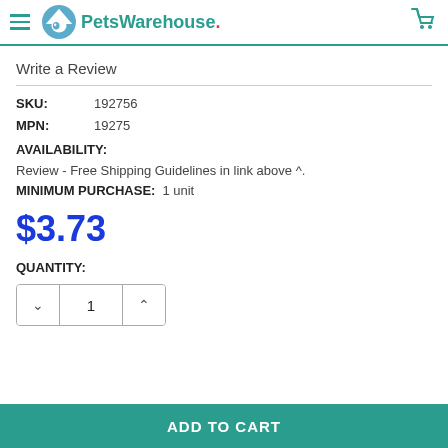Pets Warehouse
Write a Review
SKU: 192756
MPN: 19275
AVAILABILITY:
Review - Free Shipping Guidelines in link above ^.
MINIMUM PURCHASE: 1 unit
$3.73
QUANTITY:
ADD TO CART